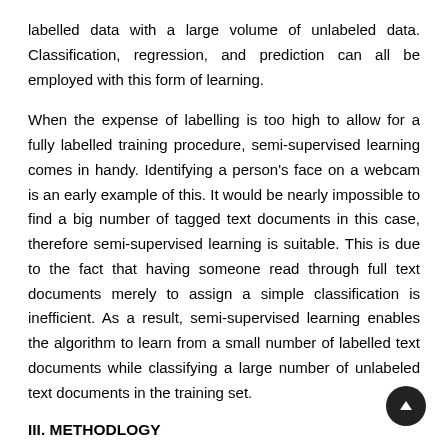labelled data with a large volume of unlabeled data. Classification, regression, and prediction can all be employed with this form of learning.
When the expense of labelling is too high to allow for a fully labelled training procedure, semi-supervised learning comes in handy. Identifying a person's face on a webcam is an early example of this. It would be nearly impossible to find a big number of tagged text documents in this case, therefore semi-supervised learning is suitable. This is due to the fact that having someone read through full text documents merely to assign a simple classification is inefficient. As a result, semi-supervised learning enables the algorithm to learn from a small number of labelled text documents while classifying a large number of unlabeled text documents in the training set.
III. METHODLOGY